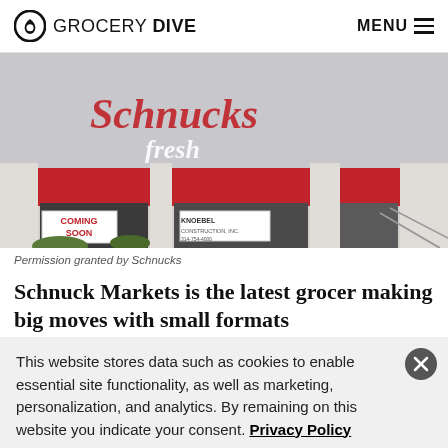GROCERY DIVE  MENU
[Figure (photo): Schnucks Fresh store exterior with red awning, 'Coming Soon' sign in window, and Knoebel Construction sign]
Permission granted by Schnucks
Schnuck Markets is the latest grocer making big moves with small formats
This website stores data such as cookies to enable essential site functionality, as well as marketing, personalization, and analytics. By remaining on this website you indicate your consent. Privacy Policy